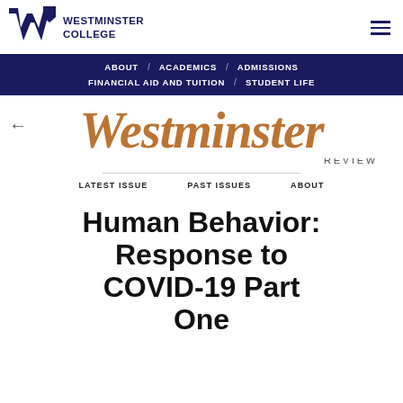[Figure (logo): Westminster College logo with stylized W and college name]
ABOUT / ACADEMICS / ADMISSIONS / FINANCIAL AID AND TUITION / STUDENT LIFE
[Figure (logo): Westminster Review masthead in italic serif font with REVIEW below]
LATEST ISSUE   PAST ISSUES   ABOUT
Human Behavior: Response to COVID-19 Part One